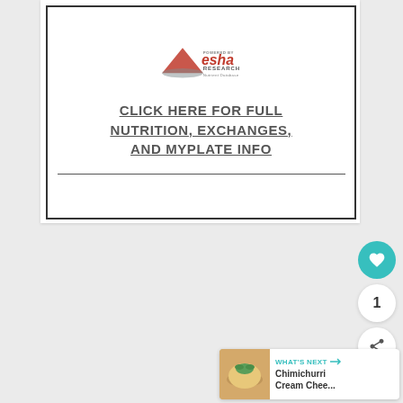[Figure (logo): ESHA Research Nutrient Database logo - powered by esha research]
CLICK HERE FOR FULL NUTRITION, EXCHANGES, AND MYPLATE INFO
[Figure (screenshot): UI elements: heart/favorite button (teal), count badge showing 1, share button, and a What's Next card showing Chimichurri Cream Chee...]